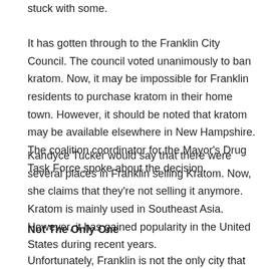stuck with some.
It has gotten through to the Franklin City Council. The council voted unanimously to ban kratom. Now, it may be impossible for Franklin residents to purchase kratom in their home town. However, it should be noted that kratom may be available elsewhere in New Hampshire. The coalition coordinator for the Mayor's Drug Task Force spoke about the decision.
Kandyce Tucker would say that there were several places in Franklin selling Kratom. Now, she claims that they're not selling it anymore. Kratom is mainly used in Southeast Asia. However, it has gained popularity in the United States during recent years.
Not The Only One
Unfortunately, Franklin is not the only city that has decided to